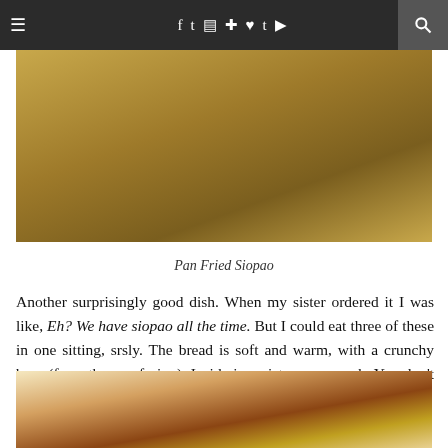≡  f  t  ☷  ⊕  ♥  t  ▶  🔍
[Figure (photo): Close-up photo of pan fried siopao (steamed buns with a fried base) in a bamboo steamer basket]
Pan Fried Siopao
Another surprisingly good dish. When my sister ordered it I was like, Eh? We have siopao all the time. But I could eat three of these in one sitting, srsly. The bread is soft and warm, with a crunchy base (from the pan frying). Inside is moist, savory pork. You don't even need any sauce.
[Figure (photo): Photo of various Filipino dishes on a white plate including what appears to be sausages and other items, partially visible]